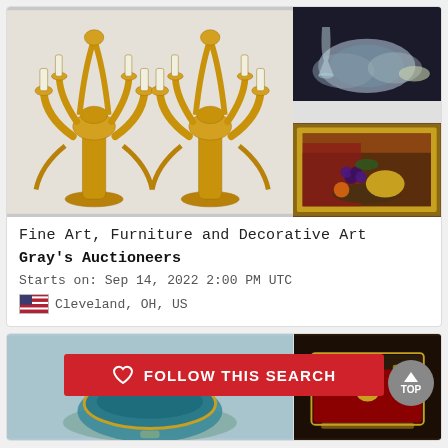[Figure (photo): Large golden baroque candelabra wall sconces on light grey background]
[Figure (photo): Crystal glassware and plates on dark background]
[Figure (photo): Empty mid divider]
[Figure (photo): Framed oil painting of fruit still life in gold ornate frame]
Fine Art, Furniture and Decorative Art
Gray's Auctioneers
Starts on: Sep 14, 2022 2:00 PM UTC
Cleveland, OH, US
[Figure (photo): Blue ceramic bowl with gold rim on light background]
[Figure (photo): Antique brass/gold box or case on dark background]
FOLLOW THIS SEARCH
TOP